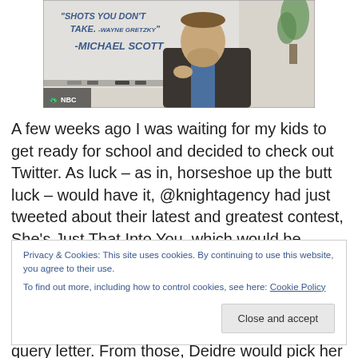[Figure (photo): Screenshot from The Office (NBC) showing Michael Scott in front of a whiteboard that reads 'SHOTS YOU DON'T TAKE. -WAYNE GRETZKY' and below that '-MICHAEL SCOTT'. NBC logo visible in bottom left corner.]
A few weeks ago I was waiting for my kids to get ready for school and decided to check out Twitter. As luck – as in, horseshoe up the butt luck – would have it, @knightagency had just tweeted about their latest and greatest contest, She's Just That Into You, which would be
Privacy & Cookies: This site uses cookies. By continuing to use this website, you agree to their use.
To find out more, including how to control cookies, see here: Cookie Policy
query letter. From those, Deidre would pick her top 30